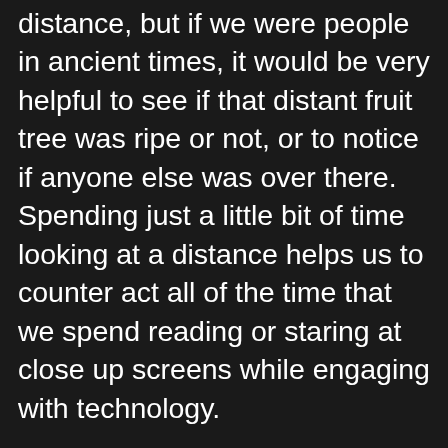distance, but if we were people in ancient times, it would be very helpful to see if that distant fruit tree was ripe or not, or to notice if anyone else was over there.  Spending just a little bit of time looking at a distance helps us to counter act all of the time that we spend reading or staring at close up screens while engaging with technology.
Often while driving, on open roads, I'll rest my eyes by looking over the steering wheel at the far off landscapes ahead of me, allowing my peripheral vision to keep track of what is happening near by.  And while I'm at my computer, I frequently gaze out the window, behind my screen, at the large tree across the street, allowing my eyes to focus on its leaves and branches for just a moment or two.  These kinds of tiny habits give the close up muscles of my eyes a little chance to rest and relax and greatly reduce any symptoms of eye fatigue.  My grandmother used to say, "Look up."  She said that